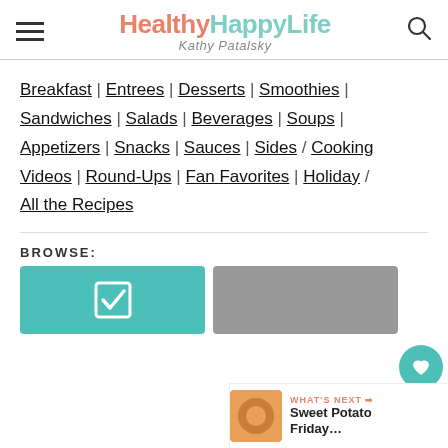HealthyHappyLife — Kathy Patalsky
Breakfast | Entrees | Desserts | Smoothies | Sandwiches | Salads | Beverages | Soups | Appetizers | Snacks | Sauces | Sides / Cooking Videos | Round-Ups | Fan Favorites | Holiday / All the Recipes
BROWSE:
[Figure (screenshot): Teal background with a white checkbox icon]
[Figure (photo): Black and white photo of a person]